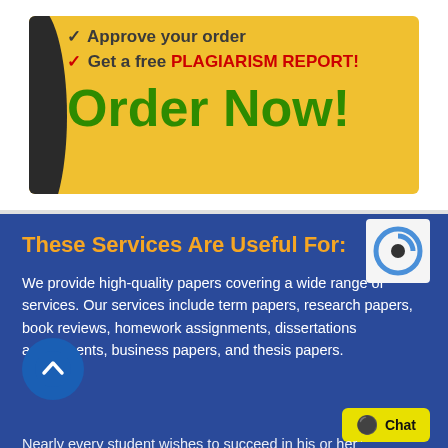[Figure (infographic): Yellow advertisement banner with black curved left edge, showing checkmarks for 'Approve your order' and 'Get a free PLAGIARISM REPORT!' in red bold text, and large green bold 'Order Now!' text]
These Services Are Useful For:
We provide high-quality papers covering a wide range of services. Our services include term papers, research papers, book reviews, homework assignments, dissertations assignments, business papers, and thesis papers.
Nearly every student wishes to succeed in his or her future